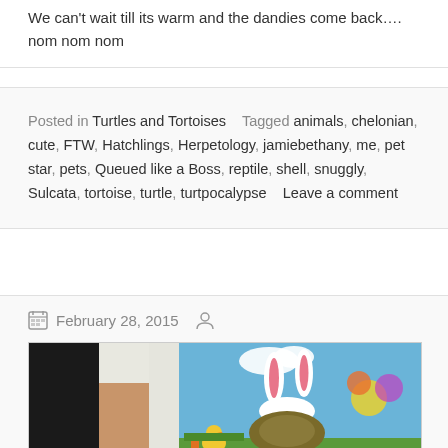We can't wait till its warm and the dandies come back…. nom nom nom
Posted in Turtles and Tortoises   Tagged animals, chelonian, cute, FTW, Hatchlings, Herpetology, jamiebethany, me, pet star, pets, Queued like a Boss, reptile, shell, snuggly, Sulcata, tortoise, turtle, turtpocalypse   Leave a comment
February 28, 2015
[Figure (photo): Photo showing a tortoise or turtle wearing bunny ears costume, with Easter-themed decorations including flowers and a chick, against a blue sky background. A person's hand is visible on the left side.]